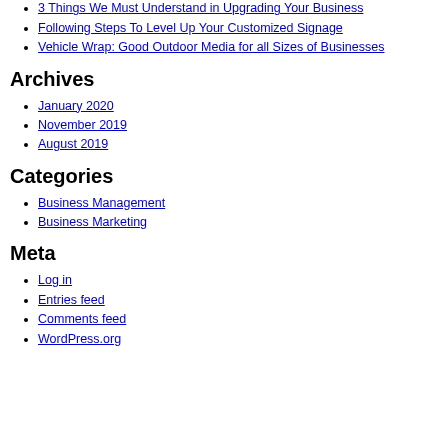Best Tool For Business is Signage
3 Things We Must Understand in Upgrading Your Business
Following Steps To Level Up Your Customized Signage
Vehicle Wrap: Good Outdoor Media for all Sizes of Businesses
Archives
January 2020
November 2019
August 2019
Categories
Business Management
Business Marketing
Meta
Log in
Entries feed
Comments feed
WordPress.org